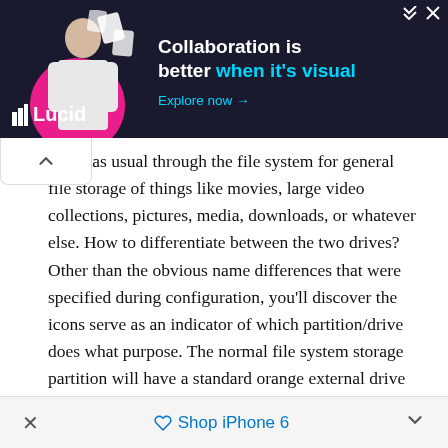[Figure (screenshot): Lucid advertisement banner with dark background showing 'Collaboration is better when it's visual' with cyan accent text and 'Explore now' CTA link]
ssible as usual through the file system for general file storage of things like movies, large video collections, pictures, media, downloads, or whatever else. How to differentiate between the two drives? Other than the obvious name differences that were specified during configuration, you'll discover the icons serve as an indicator of which partition/drive does what purpose. The normal file system storage partition will have a standard orange external drive icon, and the Time Machine partition will have a green icon with the backup logo on it.
Accessing the standard file system partition is done through any Finder window, where it will appear in the
× Shop iPhone 6 ^